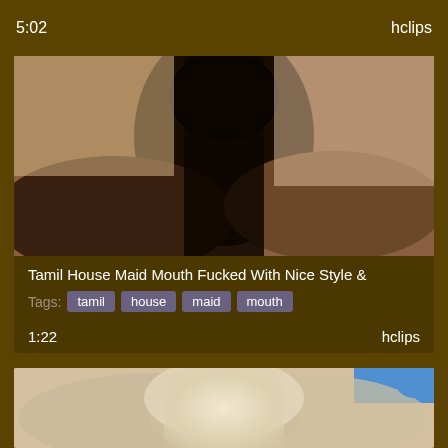5:02
hclips
[Figure (photo): Video thumbnail showing close-up dark-toned content]
Tamil House Maid Mouth Fucked With Nice Style &
Tags: tamil house maid mouth
1:22
hclips
[Figure (photo): Partial video thumbnail showing light-toned content from below]